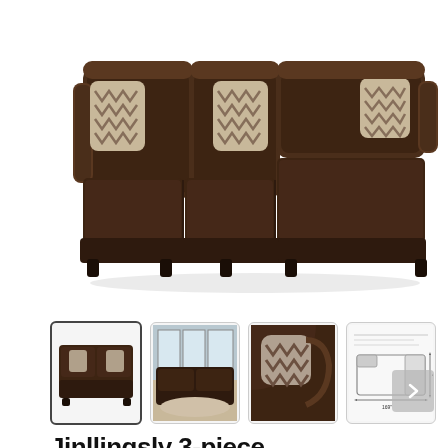[Figure (photo): Main product photo of a large dark chocolate brown microfiber sectional sofa with chaise lounge. The L-shaped sectional has decorative zigzag patterned throw pillows. Shown on a white background.]
[Figure (photo): Thumbnail 1: Same sectional sofa product photo as main image]
[Figure (photo): Thumbnail 2: Sectional sofa shown in a room setting with large windows]
[Figure (photo): Thumbnail 3: Close-up detail of the sofa arm and fabric texture]
[Figure (photo): Thumbnail 4: Dimension diagram/schematic of the sectional sofa with measurements]
Jinllingsly 3-piece